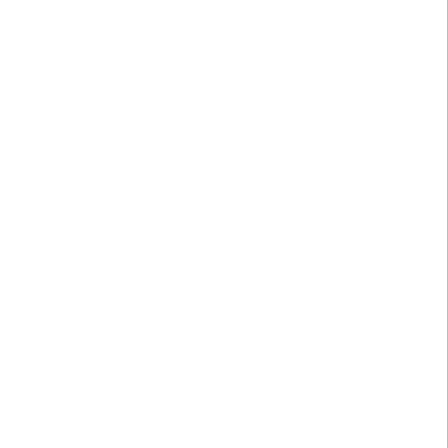to pla "w rea Ko go' or to a tru rep "no Ko pla An it see ten to fee the int pla f